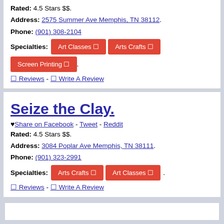Rated: 4.5 Stars $$.
Address: 2575 Summer Ave Memphis, TN 38112.
Phone: (901) 308-2104
Specialties: Art Classes  Arts Crafts  Screen Printing .
0 Reviews - 0 Write A Review
Seize the Clay.
Share on Facebook - Tweet - Reddit
Rated: 4.5 Stars $$.
Address: 3084 Poplar Ave Memphis, TN 38111.
Phone: (901) 323-2991
Specialties: Arts Crafts  Art Classes .
0 Reviews - 0 Write A Review